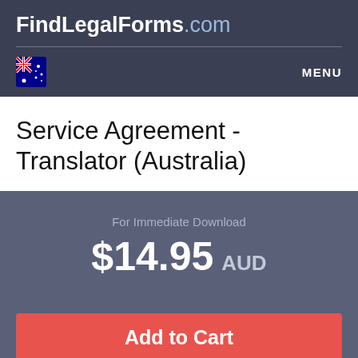FindLegalForms.com
MENU
Service Agreement - Translator (Australia)
For Immediate Download
$14.95 AUD
Add to Cart